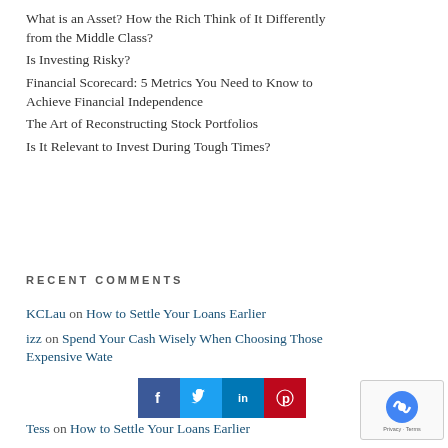What is an Asset? How the Rich Think of It Differently from the Middle Class?
Is Investing Risky?
Financial Scorecard: 5 Metrics You Need to Know to Achieve Financial Independence
The Art of Reconstructing Stock Portfolios
Is It Relevant to Invest During Tough Times?
RECENT COMMENTS
KCLau on How to Settle Your Loans Earlier
izz on Spend Your Cash Wisely When Choosing Those Expensive Wate...
Tess on How to Settle Your Loans Earlier
[Figure (infographic): Social sharing bar with Facebook (blue), Twitter (light blue), LinkedIn (dark blue), Pinterest (red) icons]